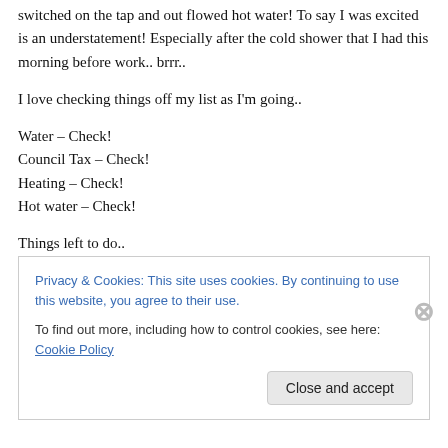switched on the tap and out flowed hot water! To say I was excited is an understatement! Especially after the cold shower that I had this morning before work.. brrr..
I love checking things off my list as I'm going..
Water – Check!
Council Tax – Check!
Heating – Check!
Hot water – Check!
Things left to do..
Privacy & Cookies: This site uses cookies. By continuing to use this website, you agree to their use.
To find out more, including how to control cookies, see here: Cookie Policy